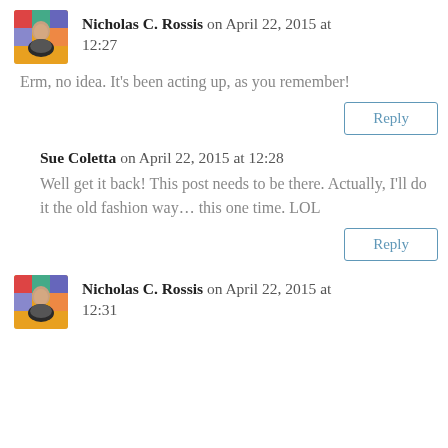Nicholas C. Rossis on April 22, 2015 at 12:27
Erm, no idea. It's been acting up, as you remember!
Reply
Sue Coletta on April 22, 2015 at 12:28
Well get it back! This post needs to be there. Actually, I'll do it the old fashion way... this one time. LOL
Reply
Nicholas C. Rossis on April 22, 2015 at 12:31